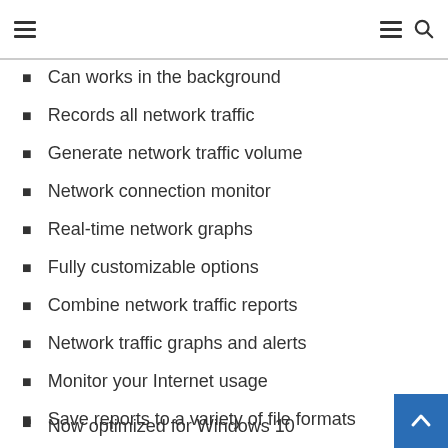Navigation header with hamburger menu icons and search icon
Can works in the background
Records all network traffic
Generate network traffic volume
Network connection monitor
Real-time network graphs
Fully customizable options
Combine network traffic reports
Network traffic graphs and alerts
Monitor your Internet usage
Save reports to a variety of file formats
And so much more.
DU Meter 7.30:
Now optimized for Windows 10 (partial)